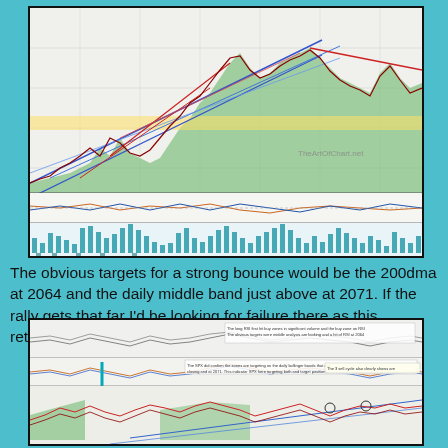[Figure (continuous-plot): SPX weekly technical chart with moving averages, Bollinger bands, trend channels (blue, red lines), green area chart, yellow highlight band, oscillator indicators, and volume/momentum histogram in teal at bottom. Contains annotation text box with analysis notes. Watermark: TheArtOfChart.net]
The obvious targets for a strong bounce would be the 200dma at 2064 and the daily middle band just above at 2071. If the rally gets that far I'd be looking for failure there as this retracement does not look finished. SPX daily chart:
[Figure (continuous-plot): SPX daily technical chart with multiple oscillator panels, moving averages, green area segments, red/blue candlestick lines, blue diagonal trend channel, teal vertical arrow marker, and multiple annotation text boxes with analysis labels.]